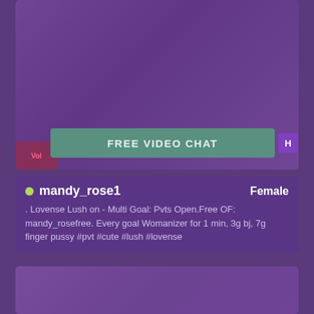[Figure (screenshot): Top webcam preview card with purple overlay showing a room scene]
FREE VIDEO CHAT
mandy_rose1   Female
. Lovense Lush on - Multi Goal: Pvts Open.Free OF: mandy_rosefree. Every goal Womanizer for 1 min, 3g bj, 7g finger pussy #pvt #cute #lush #lovense
[Figure (screenshot): Bottom webcam preview card with purple overlay showing a person]